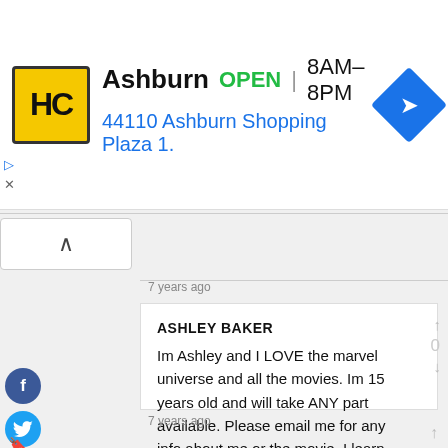[Figure (screenshot): Ad banner for Hairclub Ashburn location showing logo, open hours 8AM-8PM, address 44110 Ashburn Shopping Plaza 1., and navigation icon]
7 years ago
ASHLEY BAKER
Im Ashley and I LOVE the marvel universe and all the movies. Im 15 years old and will take ANY part available. Please email me for any info about me or the movie. I learn lines fast please consider me.
7 years ago